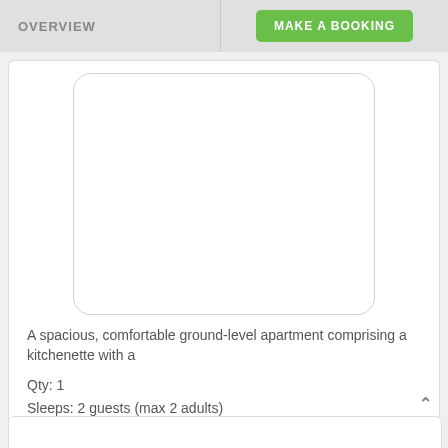OVERVIEW | MAKE A BOOKING
[Figure (photo): Blank/white rounded rectangle placeholder image for a room photo]
A spacious, comfortable ground-level apartment comprising a kitchenette with a
Qty: 1
Sleeps: 2 guests (max 2 adults)
Children: not allowed in this room type
SEE RATES & AVAILABILITY